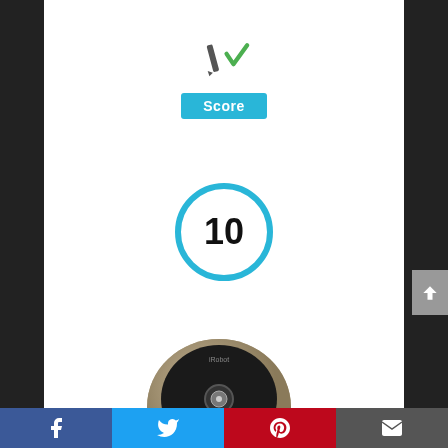[Figure (logo): Score button with checkmark icon above it — a pencil and green checkmark SVG icon above a cyan 'Score' button]
[Figure (infographic): Number 10 inside a cyan circle, representing a score rating]
[Figure (photo): iRobot Roomba 891 robot vacuum with accompanying smartphone showing the iRobot app]
iRobot Roomba 891 Robot Vacuum, Wi-Fi
[Figure (infographic): Social share bar with Facebook, Twitter, Pinterest, and email icons]